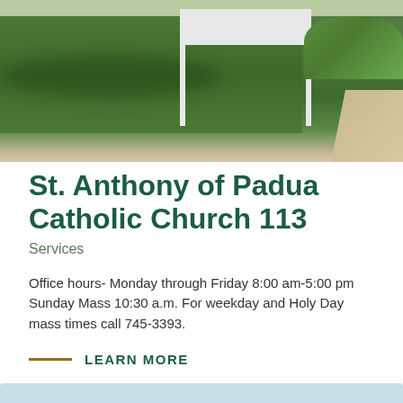[Figure (photo): Outdoor photo of a church grounds with green lawn, white sign posts with a sign board, shrubs in background, and a concrete path visible in the lower right corner.]
St. Anthony of Padua Catholic Church 113
Services
Office hours- Monday through Friday 8:00 am-5:00 pm Sunday Mass 10:30 a.m. For weekday and Holy Day mass times call 745-3393.
LEARN MORE